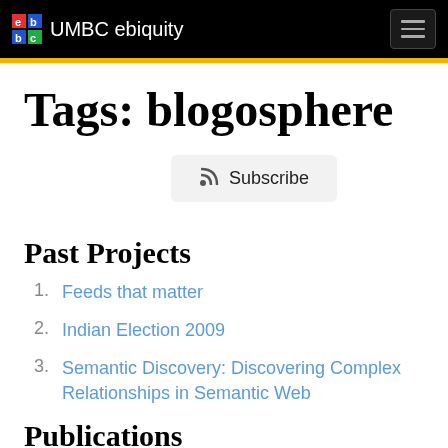UMBC ebiquity
Tags: blogosphere
Subscribe
Past Projects
Feeds that matter
Indian Election 2009
Semantic Discovery: Discovering Complex Relationships in Semantic Web
Publications